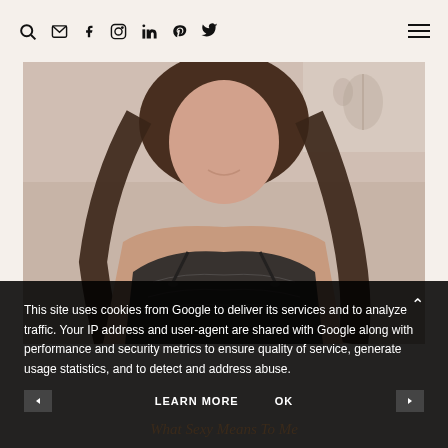Navigation header with search icon, email, facebook, instagram, linkedin, pinterest, twitter icons and hamburger menu
[Figure (photo): Close-up photo of a woman with long brown hair wearing a black lace lingerie top, smiling, light background]
This site uses cookies from Google to deliver its services and to analyze traffic. Your IP address and user-agent are shared with Google along with performance and security metrics to ensure quality of service, generate usage statistics, and to detect and address abuse.
LEARN MORE    OK
What Sexy Means To Me